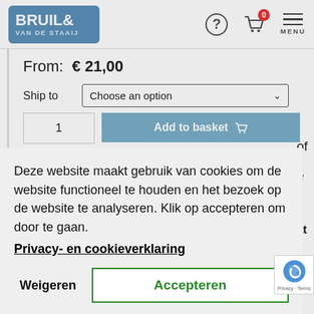[Figure (screenshot): Bruil & Van de Staaij webshop screenshot showing a cookie consent overlay dialog on a product page with price € 21,00 and ship-to selector]
BRUIL& VAN DE STAAIJ — navigation bar with help icon, cart (0), and MENU
From: € 21,00
Ship to   Choose an option
Add to basket
Deze website maakt gebruik van cookies om de website functioneel te houden en het bezoek op de website te analyseren. Klik op accepteren om door te gaan.
Privacy- en cookieverklaring
Weigeren
Accepteren